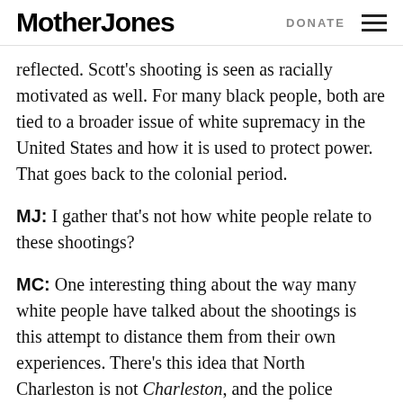Mother Jones | DONATE
reflected. Scott's shooting is seen as racially motivated as well. For many black people, both are tied to a broader issue of white supremacy in the United States and how it is used to protect power. That goes back to the colonial period.
MJ: I gather that's not how white people relate to these shootings?
MC: One interesting thing about the way many white people have talked about the shootings is this attempt to distance them from their own experiences. There's this idea that North Charleston is not Charleston, and the police brutality that happens there doesn't happen here. With Dyl...